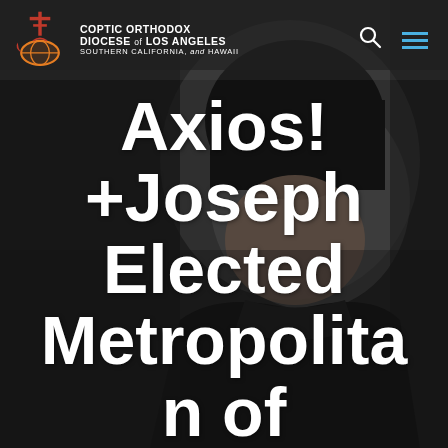[Figure (photo): A Coptic Orthodox bishop wearing black vestments and a black monastic hat, photographed against a dark background. The bishop is partially visible, with the lower portion of his face showing glasses and a slight smile.]
COPTIC ORTHODOX DIOCESE of LOS ANGELES SOUTHERN CALIFORNIA, and HAWAII
Axios! +Joseph Elected Metropolitan of